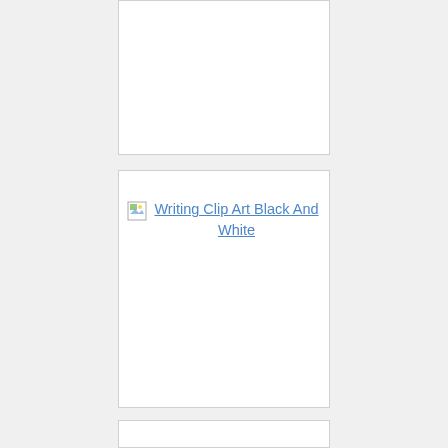[Figure (illustration): White card/box area at top, empty content]
[Figure (illustration): White card/box with broken image icon and link text 'Writing Clip Art Black And White']
[Figure (illustration): White card/box at bottom, partially visible, empty content]